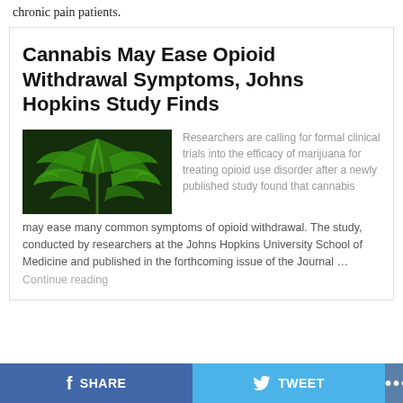chronic pain patients.
Cannabis May Ease Opioid Withdrawal Symptoms, Johns Hopkins Study Finds
[Figure (photo): Close-up photo of a bright green cannabis plant with serrated leaves against a dark background]
Researchers are calling for formal clinical trials into the efficacy of marijuana for treating opioid use disorder after a newly published study found that cannabis may ease many common symptoms of opioid withdrawal. The study, conducted by researchers at the Johns Hopkins University School of Medicine and published in the forthcoming issue of the Journal … Continue reading